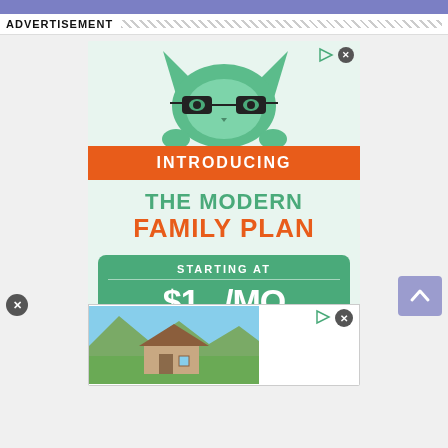ADVERTISEMENT
[Figure (illustration): Advertisement for 'The Modern Family Plan' featuring a cartoon cat with glasses peeking over an orange banner that says INTRODUCING. Below is green text 'THE MODERN' and orange text 'FAMILY PLAN', with a green rounded box showing 'STARTING AT $1[x]/MO PER LINE'. There is also a secondary overlay advertisement showing a house image.]